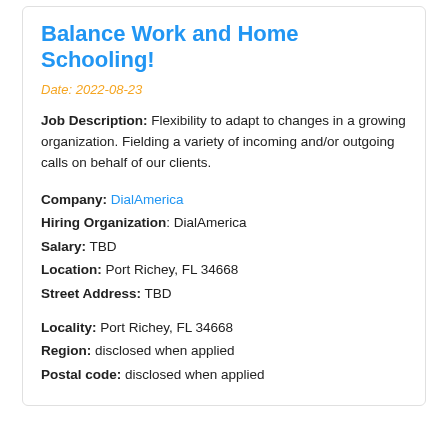Balance Work and Home Schooling!
Date: 2022-08-23
Job Description: Flexibility to adapt to changes in a growing organization. Fielding a variety of incoming and/or outgoing calls on behalf of our clients.
Company: DialAmerica
Hiring Organization: DialAmerica
Salary: TBD
Location: Port Richey, FL 34668
Street Address: TBD
Locality: Port Richey, FL 34668
Region: disclosed when applied
Postal code: disclosed when applied